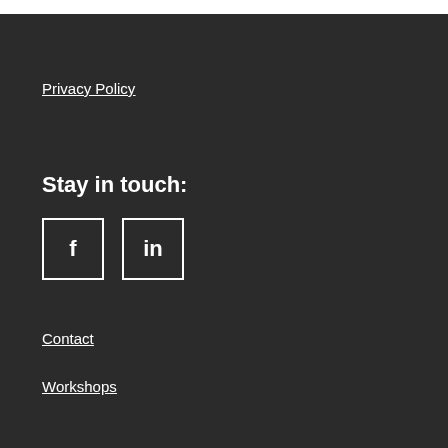Privacy Policy
Stay in touch:
[Figure (illustration): Facebook icon square button with 'f' symbol and LinkedIn icon square button with 'in' symbol]
Contact
Workshops